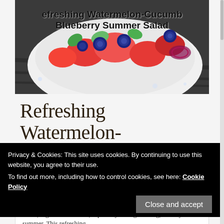[Figure (photo): A bowl of colorful fruit salad with watermelon, blueberries, and other fruits on a dark wooden surface, with text overlay 'Refreshing Watermelon-Cucumber Blueberry Summer Salad']
Refreshing Watermelon-
Privacy & Cookies: This site uses cookies. By continuing to use this website, you agree to their use.
To find out more, including how to control cookies, see here: Cookie Policy
Close and accept
Fresh, organic salads rule, especially during the long, hot days of summer. This refreshing